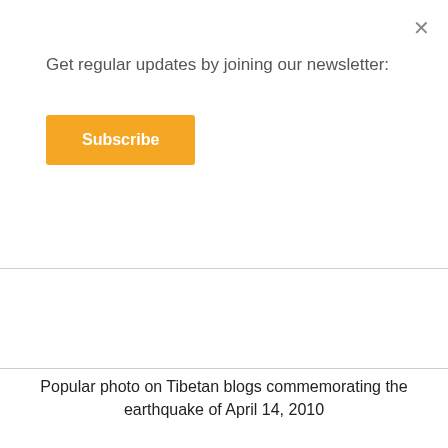Get regular updates by joining our newsletter:
Subscribe
Popular photo on Tibetan blogs commemorating the earthquake of April 14, 2010